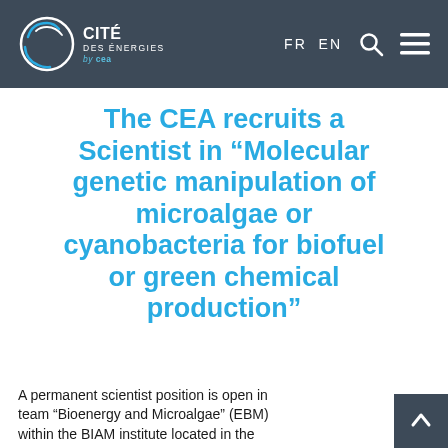Cité des Énergies by CEA — FR EN
The CEA recruits a Scientist in “Molecular genetic manipulation of microalgae or cyanobacteria for biofuel or green chemical production”
A permanent scientist position is open in team “Bioenergy and Microalgae” (EBM) within the BIAM institute located in the